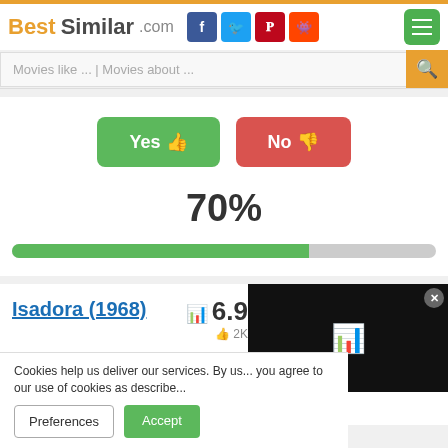BestSimilar.com
Movies like ... | Movies about ...
Yes 👍  No 👎
70%
[Figure (infographic): Horizontal progress bar showing 70% filled in green, remainder in grey]
Isadora (1968)
6.9 rating with bar chart icon and 2K likes
[Figure (screenshot): Dark black overlay panel with teal bar chart icon]
Cookies help us deliver our services. By us... you agree to our use of cookies as describe...
Preferences  Accept